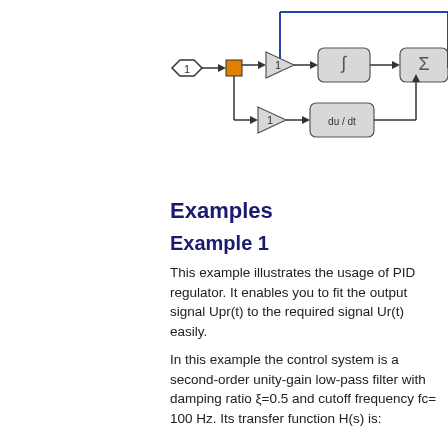[Figure (schematic): Simulink block diagram showing a PID controller structure. A hexagon labeled '1' connects to a sum junction (orange square), feeding into two parallel paths: one through a gain block '1' then an integrator block (∫), and another through a gain block '1' then a derivative block (du/dt). Both paths connect to a summation block (Σ) on the right. Blue feedback line visible.]
Examples
Example 1
This example illustrates the usage of PID regulator. It enables you to fit the output signal Upr(t) to the required signal Ur(t) easily.
In this example the control system is a second-order unity-gain low-pass filter with damping ratio ξ=0.5 and cutoff frequency fc= 100 Hz. Its transfer function H(s) is: